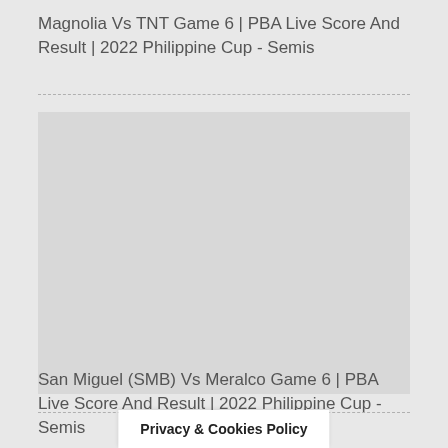Magnolia Vs TNT Game 6 | PBA Live Score And Result | 2022 Philippine Cup - Semis
[Figure (other): Gray placeholder image/content area]
San Miguel (SMB) Vs Meralco Game 6 | PBA Live Score And Result | 2022 Philippine Cup - Semis
Privacy & Cookies Policy